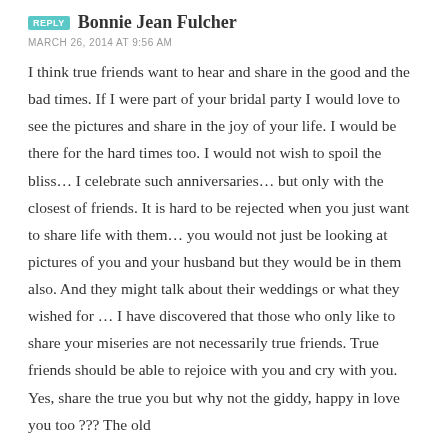REPLY  Bonnie Jean Fulcher
MARCH 26, 2014 AT 9:56 AM
I think true friends want to hear and share in the good and the bad times. If I were part of your bridal party I would love to see the pictures and share in the joy of your life. I would be there for the hard times too. I would not wish to spoil the bliss… I celebrate such anniversaries… but only with the closest of friends. It is hard to be rejected when you just want to share life with them… you would not just be looking at pictures of you and your husband but they would be in them also. And they might talk about their weddings or what they wished for … I have discovered that those who only like to share your miseries are not necessarily true friends. True friends should be able to rejoice with you and cry with you. Yes, share the true you but why not the giddy, happy in love you too ??? The old